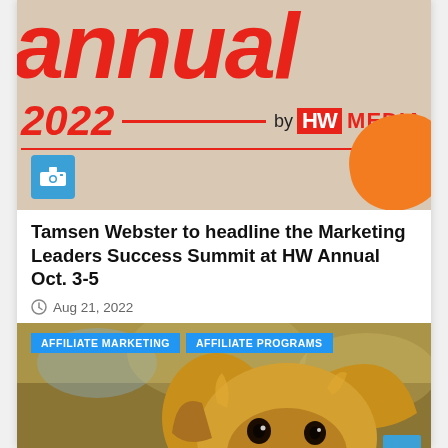[Figure (illustration): HW Annual 2022 by HW Media banner image with large red italic 'annual' text, '2022' year, 'by HW MEDIA' branding, camera icon, and orange blob shape on beige background]
Tamsen Webster to headline the Marketing Leaders Success Summit at HW Annual Oct. 3-5
Aug 21, 2022
[Figure (photo): Photo of a dog (appears to be a small mixed breed with tan/brown fur) with overlaid category tags 'AFFILIATE MARKETING' and 'AFFILIATE PROGRAMS' in blue. A blue scroll-to-top button is visible in the lower right corner.]